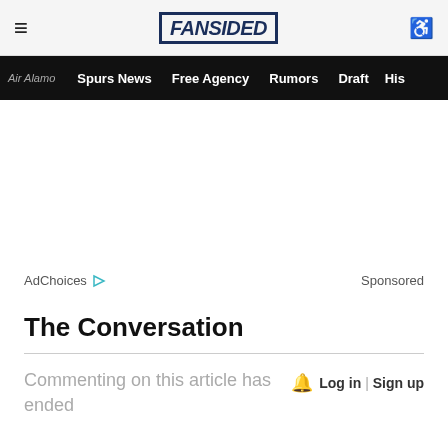≡ FANSIDED ♿
Air Alamo  Spurs News  Free Agency  Rumors  Draft  His
[Figure (other): Advertisement area (blank white space)]
AdChoices ▷   Sponsored
The Conversation
Commenting on this article has ended
🔔  Log in | Sign up